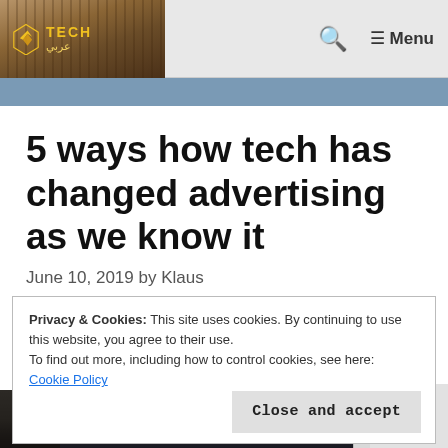TECHعربي — ☰ Menu
5 ways how tech has changed advertising as we know it
June 10, 2019 by Klaus
Privacy & Cookies: This site uses cookies. By continuing to use this website, you agree to their use.
To find out more, including how to control cookies, see here:
Cookie Policy
Close and accept
[Figure (photo): Bottom portion of a city street scene with advertising billboards, partially visible. TDK logo visible on a billboard.]